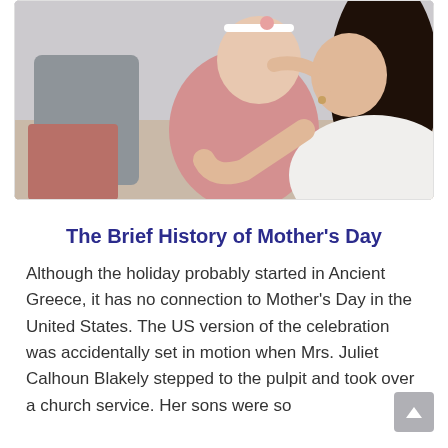[Figure (photo): A mother with dark hair kissing a baby dressed in pink; the baby has a white headband and looks at the camera. They are sitting on a couch with gray and pink pillows.]
The Brief History of Mother's Day
Although the holiday probably started in Ancient Greece, it has no connection to Mother's Day in the United States. The US version of the celebration was accidentally set in motion when Mrs. Juliet Calhoun Blakely stepped to the pulpit and took over a church service. Her sons were so...